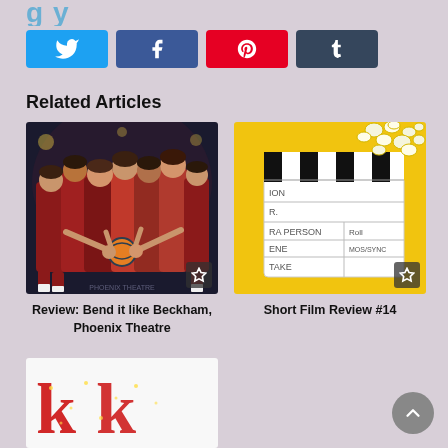[Figure (other): Partial heading text cut off at top, light blue/cyan color]
[Figure (other): Social share buttons row: Twitter (blue), Facebook (blue), Pinterest (red), Tumblr (dark grey)]
Related Articles
[Figure (photo): Group of female athletes/dancers in red uniforms putting hands together over a football/ball, dark background theatre setting. Star/bookmark badge in lower right corner.]
Review: Bend it like Beckham, Phoenix Theatre
[Figure (photo): Film clapperboard on yellow background with popcorn. Star/bookmark badge in lower right corner.]
Short Film Review #14
[Figure (photo): Partial image showing red glittery text/logo, cut off at page bottom]
[Figure (other): Scroll-to-top circular grey button with upward arrow, bottom right corner]